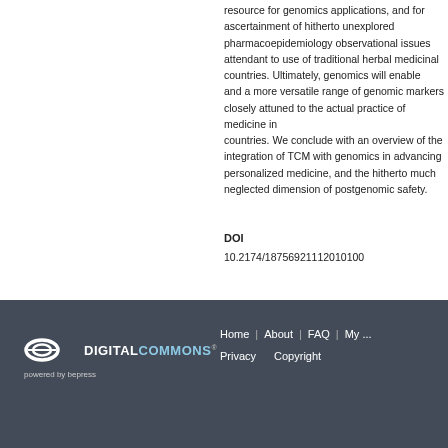resource for genomics applica... ascertainment of hitherto unex... pharmacoepidemiology observ... attendant to use of traditional h... countries. Ultimately, genomics... and a more versatile range of g... closely attuned to the actual pr... countries. We conclude with a... integration of TCM with genom... personalized medicine, and the... neglected dimension of postge...
DOI
10.2174/187569211120101001...
[Figure (logo): Digital Commons powered by bepress logo, white on dark grey background]
Home | About | FAQ | My ... Privacy   Copyright